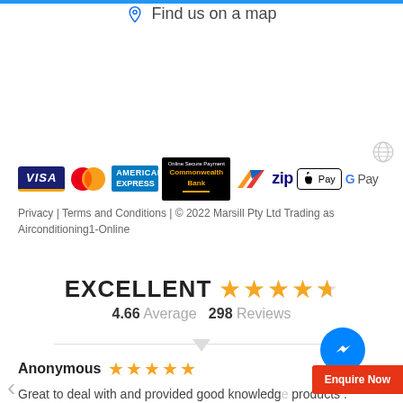Find us on a map
[Figure (logo): Payment method logos: VISA, MasterCard, American Express, Commonwealth Bank Online Secure Payment, Zip, Apple Pay, Google Pay, and a globe icon]
Privacy | Terms and Conditions | © 2022 Marsill Pty Ltd Trading as Airconditioning1-Online
EXCELLENT  4.66 Average  298 Reviews
Anonymous ★★★★★ Great to deal with and provided good knowledge products . Supplied and installed a Daikin ducted system